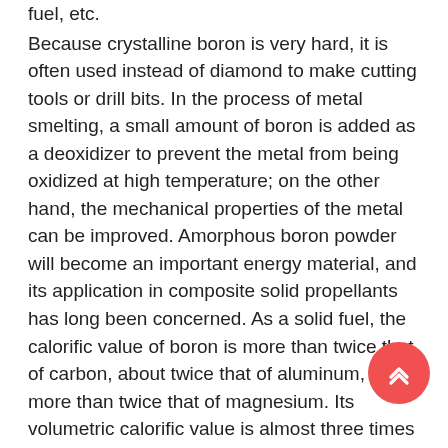fuel, etc.
Because crystalline boron is very hard, it is often used instead of diamond to make cutting tools or drill bits. In the process of metal smelting, a small amount of boron is added as a deoxidizer to prevent the metal from being oxidized at high temperature; on the other hand, the mechanical properties of the metal can be improved. Amorphous boron powder will become an important energy material, and its application in composite solid propellants has long been concerned. As a solid fuel, the calorific value of boron is more than twice that of carbon, about twice that of aluminum, and more than twice that of magnesium. Its volumetric calorific value is almost three times that of hydrocarbon fuels, and its density is only slightly lower than that of aluminum. It has the highest volume calorific value. In terms of its energy, boron should be the best non-metallic fuel.